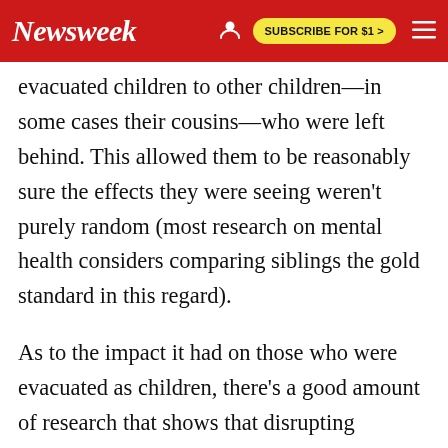Newsweek | SUBSCRIBE FOR $1 >
evacuated children to other children—in some cases their cousins—who were left behind. This allowed them to be reasonably sure the effects they were seeing weren't purely random (most research on mental health considers comparing siblings the gold standard in this regard).
As to the impact it had on those who were evacuated as children, there's a good amount of research that shows that disrupting parental attachment early in childhood can cause harm